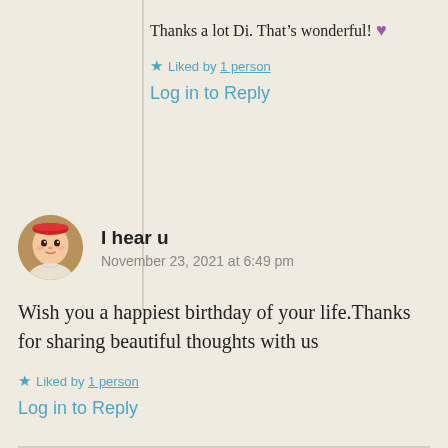Thanks a lot Di. That’s wonderful! 💜
Liked by 1 person
Log in to Reply
I hear u
November 23, 2021 at 6:49 pm
Wish you a happiest birthday of your life.Thanks for sharing beautiful thoughts with us
Liked by 1 person
Log in to Reply